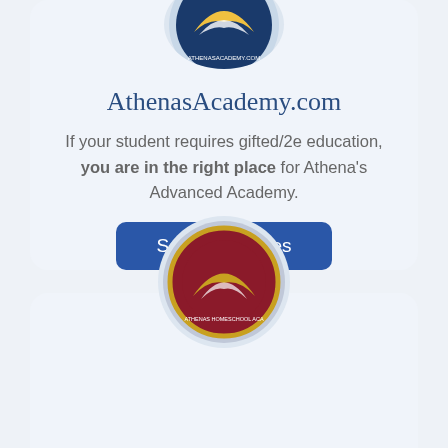[Figure (logo): AthenasAcademy.com circular logo with blue and yellow design, partially visible at top]
AthenasAcademy.com
If your student requires gifted/2e education, you are in the right place for Athena's Advanced Academy.
[Figure (other): Blue button labeled 'See All Courses']
[Figure (logo): Athena's Homeschool Academy circular logo with maroon and gold design, partially visible at bottom]